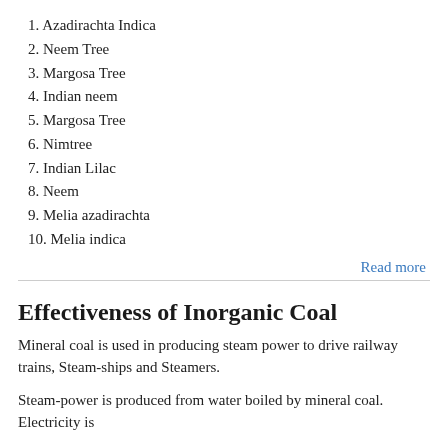1. Azadirachta Indica
2. Neem Tree
3. Margosa Tree
4. Indian neem
5. Margosa Tree
6. Nimtree
7. Indian Lilac
8. Neem
9. Melia azadirachta
10. Melia indica
Read more
Effectiveness of Inorganic Coal
Mineral coal is used in producing steam power to drive railway trains, Steam-ships and Steamers.
Steam-power is produced from water boiled by mineral coal. Electricity is